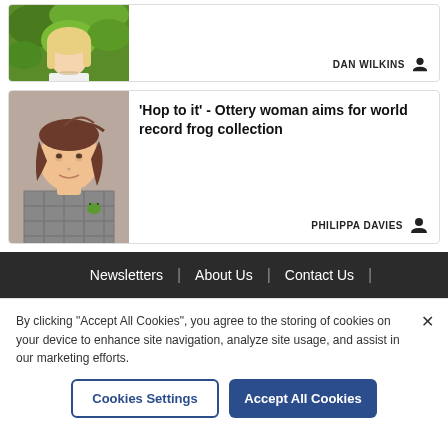[Figure (photo): Partial view of a woman with blonde hair against green foliage background, cropped at top]
DAN WILKINS
[Figure (photo): Portrait photo of a woman with brown hair smiling, holding a small frog]
'Hop to it' - Ottery woman aims for world record frog collection
PHILIPPA DAVIES
Newsletters | About Us | Contact Us |
By clicking "Accept All Cookies", you agree to the storing of cookies on your device to enhance site navigation, analyze site usage, and assist in our marketing efforts.
Cookies Settings
Accept All Cookies